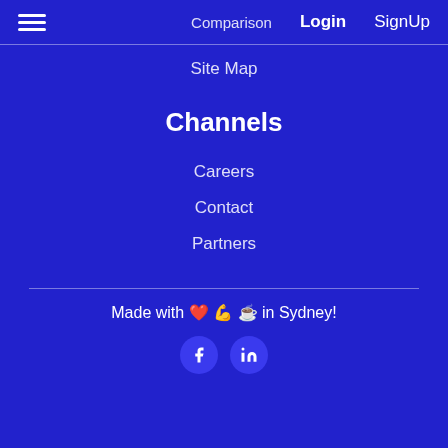Comparison  Login  SignUp
Site Map
Channels
Careers
Contact
Partners
Made with ❤️ 💪 ☕ in Sydney!